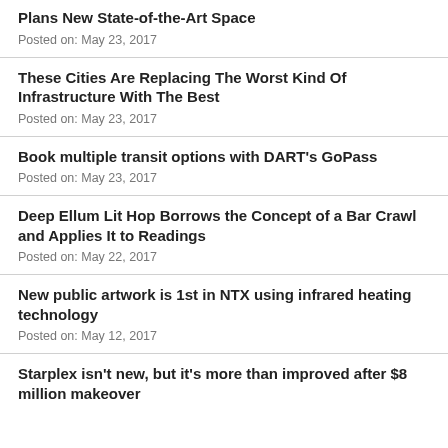Plans New State-of-the-Art Space
Posted on: May 23, 2017
These Cities Are Replacing The Worst Kind Of Infrastructure With The Best
Posted on: May 23, 2017
Book multiple transit options with DART's GoPass
Posted on: May 23, 2017
Deep Ellum Lit Hop Borrows the Concept of a Bar Crawl and Applies It to Readings
Posted on: May 22, 2017
New public artwork is 1st in NTX using infrared heating technology
Posted on: May 12, 2017
Starplex isn't new, but it's more than improved after $8 million makeover